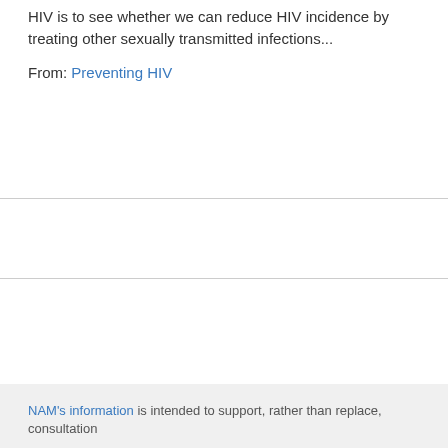HIV is to see whether we can reduce HIV incidence by treating other sexually transmitted infections...
From: Preventing HIV
NAM's information is intended to support, rather than replace, consultation